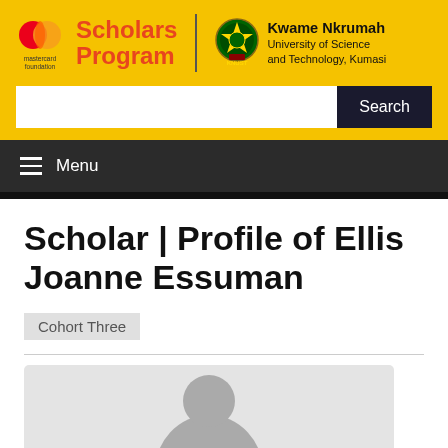[Figure (logo): Mastercard Foundation Scholars Program and Kwame Nkrumah University of Science and Technology, Kumasi logos on yellow background with search bar]
Menu
Scholar | Profile of Ellis Joanne Essuman
Cohort Three
[Figure (photo): Partial profile photo placeholder showing a grey avatar silhouette on light grey background]